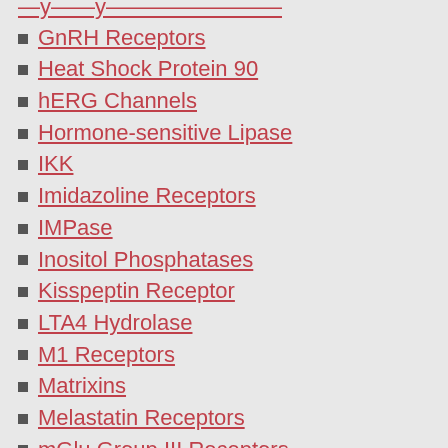GnRH Receptors
Heat Shock Protein 90
hERG Channels
Hormone-sensitive Lipase
IKK
Imidazoline Receptors
IMPase
Inositol Phosphatases
Kisspeptin Receptor
LTA4 Hydrolase
M1 Receptors
Matrixins
Melastatin Receptors
mGlu Group III Receptors
mGlu5 Receptors
Monoamine Oxidase
Motilin Receptor
My Blog
Neutrophil Elastase
Nicotinic (??4??2) Receptors